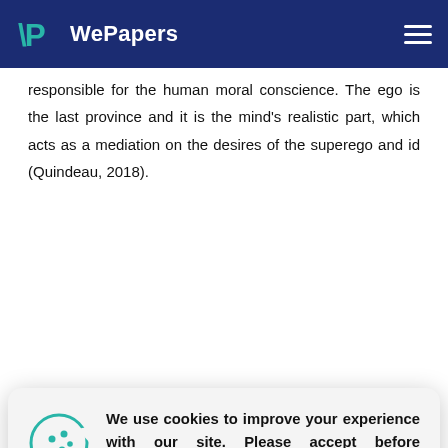WePapers
responsible for the human moral conscience. The ego is the last province and it is the mind's realistic part, which acts as a mediation on the desires of the superego and id (Quindeau, 2018).
[Figure (other): Cookie consent overlay with cookie icon, message about cookies, and an ACCEPT button. Text: We use cookies to improve your experience with our site. Please accept before continuing or read our cookie policy here.]
towards Bertha and goes on to explain how he had a strong sexual attraction to her. However, Nietzsche assists him in realizing that he had